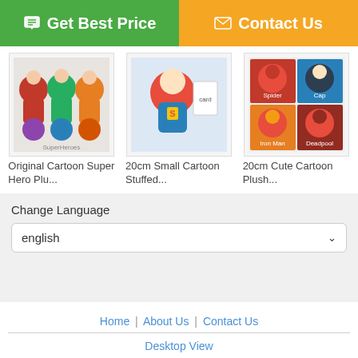[Figure (other): Green 'Get Best Price' button and orange 'Contact Us' button at top]
[Figure (photo): Original Cartoon Super Hero Plush toy product image - group of superhero plush figures]
Original Cartoon Super Hero Plu...
[Figure (photo): 20cm Small Cartoon Stuffed plush toy - Superman figure]
20cm Small Cartoon Stuffed...
[Figure (photo): 20cm Cute Cartoon Plush toys - grid of 4 superhero figures]
20cm Cute Cartoon Plush...
Change Language
english
Home | About Us | Contact Us
Desktop View
China stuffed animal scooby doo Supplier. Copyright © 2015 - 2022 cartoonplushtoy.com. All rights reserved. Developed by ECER
[Figure (other): Orange 'Chat Now' button and orange 'Request A Quote' button at bottom]